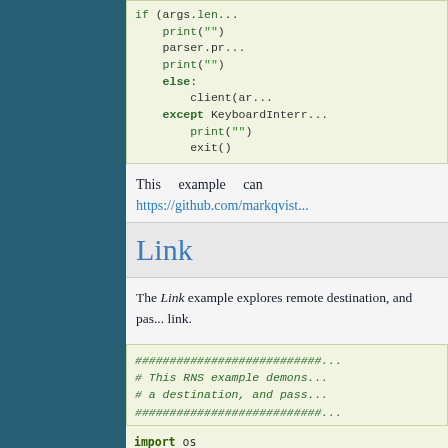[Figure (screenshot): Left navigation panel with teal/dark blue background]
if (args.len...)
    print("")
    parser.pr...
    print("")
else:
    client(ar...
except KeyboardInterr...
    print("")
    exit()
This example can https://github.com/markqvist...
Link
The Link example explores remote destination, and pas... link.
################################
# This RNS example demons...
# a destination, and pass...
################################

import os
import...